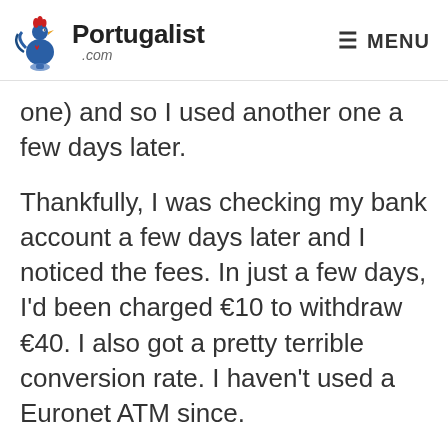Portugalist .com — MENU
one) and so I used another one a few days later.
Thankfully, I was checking my bank account a few days later and I noticed the fees. In just a few days, I'd been charged €10 to withdraw €40. I also got a pretty terrible conversion rate. I haven't used a Euronet ATM since.